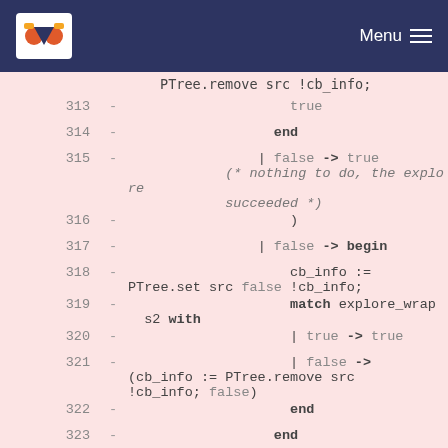Menu
Code diff showing OCaml source lines 313-326 with removals marked with '-'